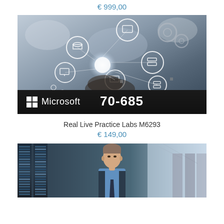€ 999,00
[Figure (photo): Microsoft 70-685 exam product banner showing a hand holding a glowing orb surrounded by circular technology icons (tablet, database, monitor, server, etc.) with a dark bottom bar showing the Microsoft logo and '70-685' text]
Real Live Practice Labs M6293
€ 149,00
[Figure (photo): A man in a light blue dress shirt and tie standing in a server room/data center with server racks on both sides, looking at the camera]